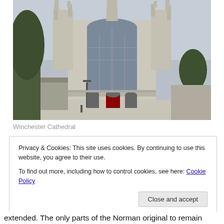[Figure (photo): Photograph of Winchester Cathedral exterior showing Gothic architecture with tall spires and large stained glass window facade, taken on an overcast day with trees in the foreground and people visible near the entrance.]
Winchester Cathedral
Privacy & Cookies: This site uses cookies. By continuing to use this website, you agree to their use.
To find out more, including how to control cookies, see here: Cookie Policy

Close and accept
extended. The only parts of the Norman original to remain